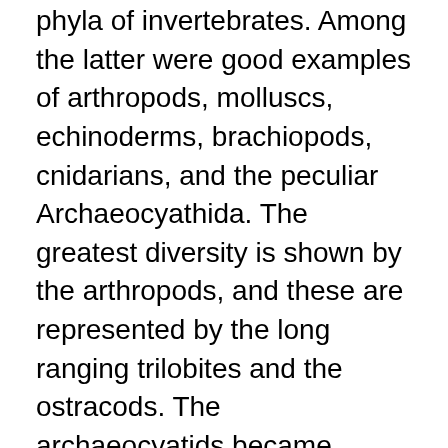phyla of invertebrates. Among the latter were good examples of arthropods, molluscs, echinoderms, brachiopods, cnidarians, and the peculiar Archaeocyathida. The greatest diversity is shown by the arthropods, and these are represented by the long ranging trilobites and the ostracods. The archaeocyatids became extinct in the Middle Cambrian.
Also in the Chengjiang in Yunnan, the Early Cambrian fauna is well preserved, and in it are many of the same types as occur in the Middle Cambrian Burgess Shale in Canada. These include many types of organisms that have left no traces in younger rocks. Some have general arthropod shape, several eyes on the head, appendages with breathing filaments but no